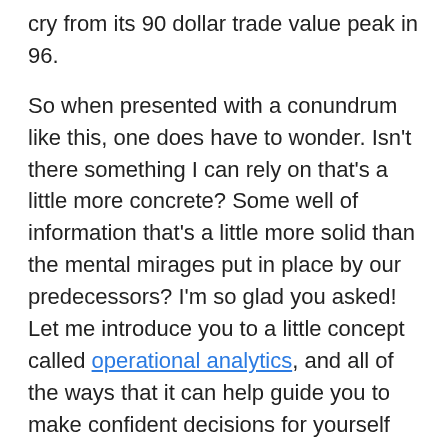cry from its 90 dollar trade value peak in 96.
So when presented with a conundrum like this, one does have to wonder. Isn’t there something I can rely on that’s a little more concrete? Some well of information that’s a little more solid than the mental mirages put in place by our predecessors? I’m so glad you asked! Let me introduce you to a little concept called operational analytics, and all of the ways that it can help guide you to make confident decisions for yourself and your business!
What are Operational Analytics?